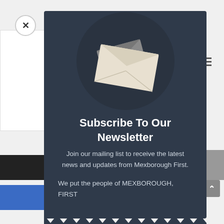[Figure (screenshot): Newsletter subscription modal popup over a webpage. The modal has a dark blue-grey background with an envelope illustration in a dark circle at the top, followed by text content.]
Subscribe To Our Newsletter
Join our mailing list to receive the latest news and updates from Mexborough First.
We put the people of MEXBOROUGH, FIRST